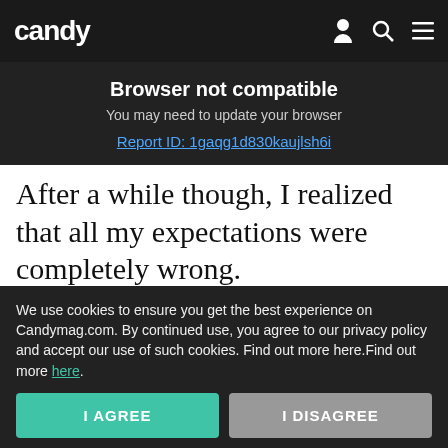candy
Browser not compatible
You may need to update your browser
Report ID: 1gaqg1d830kaujlsh6i
After a while though, I realized that all my expectations were completely wrong.
READ: THIS IS HOW YOU FALL IN LOVE
Read on App
Falling in love doesn't happen quickly. You
We use cookies to ensure you get the best experience on Candymag.com. By continued use, you agree to our privacy policy and accept our use of such cookies. Find out more here.Find out more here.
I AGREE
I DISAGREE